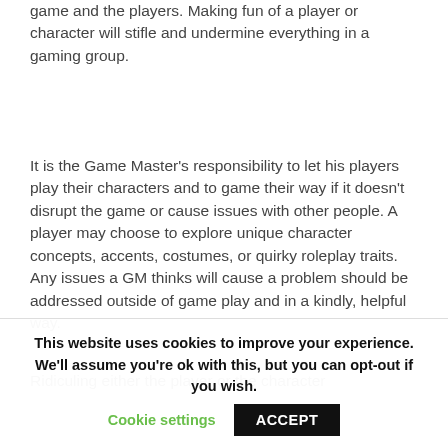game and the players. Making fun of a player or character will stifle and undermine everything in a gaming group.
It is the Game Master's responsibility to let his players play their characters and to game their way if it doesn't disrupt the game or cause issues with other people. A player may choose to explore unique character concepts, accents, costumes, or quirky roleplay traits. Any issues a GM thinks will cause a problem should be addressed outside of game play and in a kindly, helpful way.
Ridiculing either the player or the character
This website uses cookies to improve your experience. We'll assume you're ok with this, but you can opt-out if you wish. Cookie settings ACCEPT